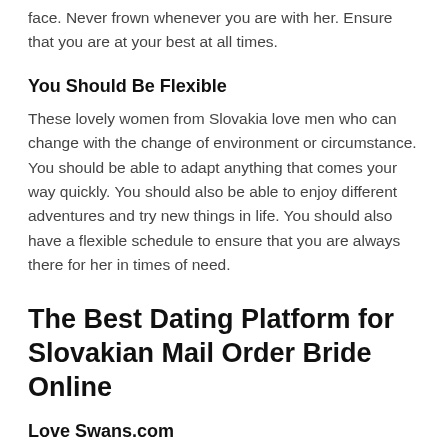face. Never frown whenever you are with her. Ensure that you are at your best at all times.
You Should Be Flexible
These lovely women from Slovakia love men who can change with the change of environment or circumstance. You should be able to adapt anything that comes your way quickly. You should also be able to enjoy different adventures and try new things in life. You should also have a flexible schedule to ensure that you are always there for her in times of need.
The Best Dating Platform for Slovakian Mail Order Bride Online
Love Swans.com